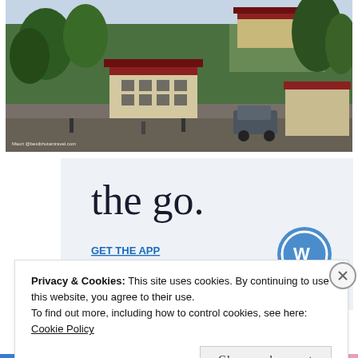[Figure (photo): Outdoor scene showing a Bhutanese town with traditional architecture, a red and dark-roofed gate structure in the foreground, green hillside with trees and traditional buildings on the hilltop, vehicles and people visible on a road in the middle ground, overcast sky in the background.]
[Figure (screenshot): Mobile app promotion banner with light blue/grey background showing partial text 'the go.' in large serif font, a 'GET THE APP' link in blue underlined text, and a WordPress circular logo icon on the right.]
Privacy & Cookies: This site uses cookies. By continuing to use this website, you agree to their use.
To find out more, including how to control cookies, see here:
Cookie Policy
Close and accept